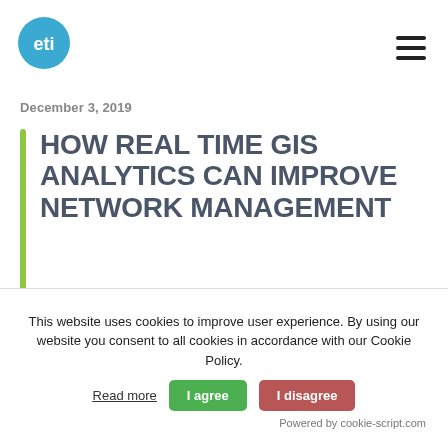[Figure (logo): ETI logo: blue circle with white 'eti' text]
December 3, 2019
HOW REAL TIME GIS ANALYTICS CAN IMPROVE NETWORK MANAGEMENT
This website uses cookies to improve user experience. By using our website you consent to all cookies in accordance with our Cookie Policy. Read more  I agree  I disagree  Powered by cookie-script.com